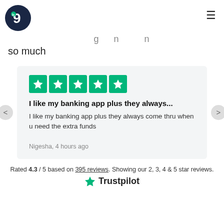[Figure (logo): Dark navy blue circular logo with a stylized '9' shape and a small green dot]
so much
[Figure (other): Trustpilot review card with 5 green stars. Review title: 'I like my banking app plus they always...'. Review body: 'I like my banking app plus they always come thru when u need the extra funds'. Author: Nigesha, 4 hours ago]
Rated 4.3 / 5 based on 395 reviews. Showing our 2, 3, 4 & 5 star reviews.
[Figure (logo): Trustpilot logo with green star]